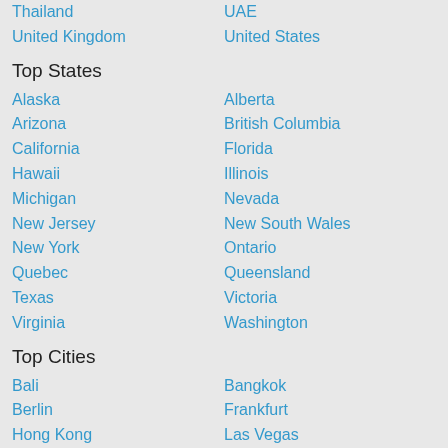Thailand
UAE
United Kingdom
United States
Top States
Alaska
Alberta
Arizona
British Columbia
California
Florida
Hawaii
Illinois
Michigan
Nevada
New Jersey
New South Wales
New York
Ontario
Quebec
Queensland
Texas
Victoria
Virginia
Washington
Top Cities
Bali
Bangkok
Berlin
Frankfurt
Hong Kong
Las Vegas
Los Angeles
Macau
Madrid
New York
Paris
Pattaya
Phuket
Rome
San Francisco
Shanghai
Singapore
Sydney